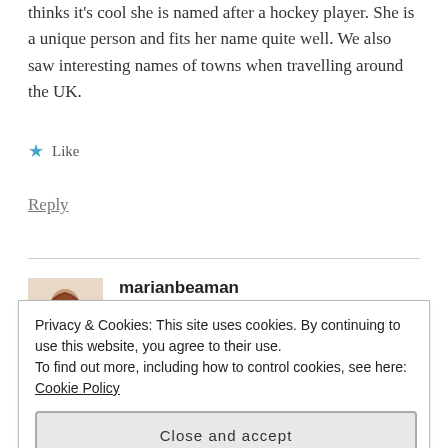thinks it's cool she is named after a hockey player. She is a unique person and fits her name quite well. We also saw interesting names of towns when travelling around the UK.
★ Like
Reply
marianbeaman
FEBRUARY 7, 2015 AT 4:05 PM
Privacy & Cookies: This site uses cookies. By continuing to use this website, you agree to their use.
To find out more, including how to control cookies, see here: Cookie Policy
Close and accept